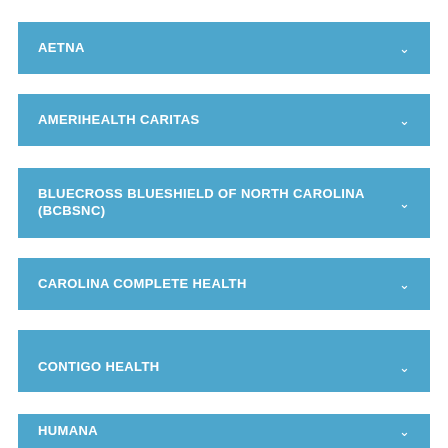AETNA
AMERIHEALTH CARITAS
BLUECROSS BLUESHIELD OF NORTH CAROLINA (BCBSNC)
CAROLINA COMPLETE HEALTH
CIGNA
CONTIGO HEALTH
HUMANA